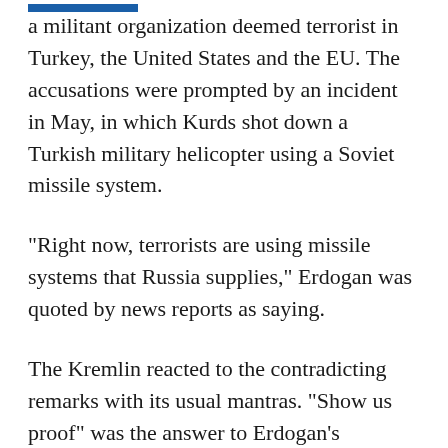a militant organization deemed terrorist in Turkey, the United States and the EU. The accusations were prompted by an incident in May, in which Kurds shot down a Turkish military helicopter using a Soviet missile system.
"Right now, terrorists are using missile systems that Russia supplies," Erdogan was quoted by news reports as saying.
The Kremlin reacted to the contradicting remarks with its usual mantras. "Show us proof" was the answer to Erdogan's accusations; and "apology first" — to the Cabinet's proposal.
"A commission cannot solve the existing problem